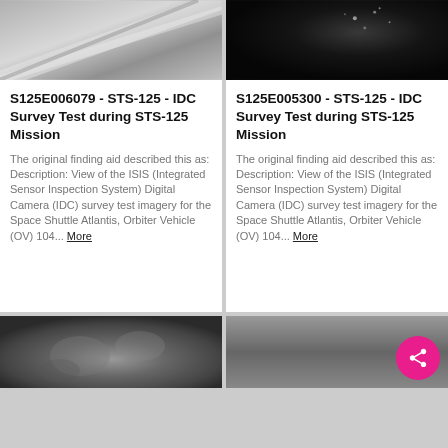[Figure (photo): Close-up grayscale photo of metallic surface, shuttle tile or panel edge at an angle]
S125E006079 - STS-125 - IDC Survey Test during STS-125 Mission
The original finding aid described this as: Description: View of the ISIS (Integrated Sensor Inspection System) Digital Camera (IDC) survey test imagery for the Space Shuttle Atlantis, Orbiter Vehicle (OV) 104... More
[Figure (photo): Dark near-black grayscale photo with faint bright speckles, space or sensor image]
S125E005300 - STS-125 - IDC Survey Test during STS-125 Mission
The original finding aid described this as: Description: View of the ISIS (Integrated Sensor Inspection System) Digital Camera (IDC) survey test imagery for the Space Shuttle Atlantis, Orbiter Vehicle (OV) 104... More
[Figure (photo): Grayscale blurry texture image, bottom left card]
[Figure (photo): Grayscale gradient image bottom right with pink share FAB button overlay]